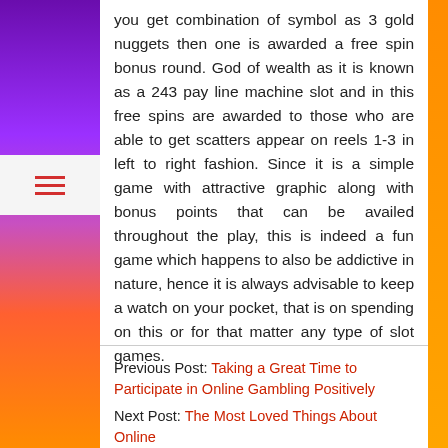you get combination of symbol as 3 gold nuggets then one is awarded a free spin bonus round. God of wealth as it is known as a 243 pay line machine slot and in this free spins are awarded to those who are able to get scatters appear on reels 1-3 in left to right fashion. Since it is a simple game with attractive graphic along with bonus points that can be availed throughout the play, this is indeed a fun game which happens to also be addictive in nature, hence it is always advisable to keep a watch on your pocket, that is on spending on this or for that matter any type of slot games.
Previous Post: Taking a Great Time to Participate in Online Gambling Positively
Next Post: The Most Loved Things About Online